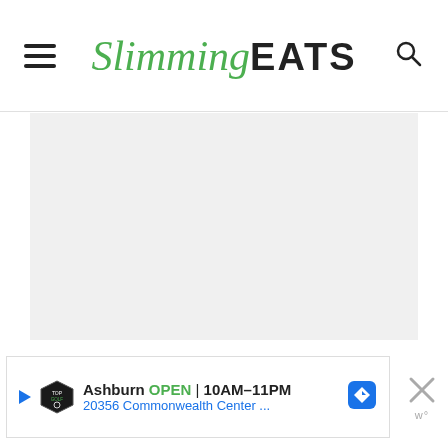Slimming EATS
[Figure (screenshot): Gray loading content area placeholder below the navigation header]
Ashburn OPEN 10AM–11PM 20356 Commonwealth Center ...